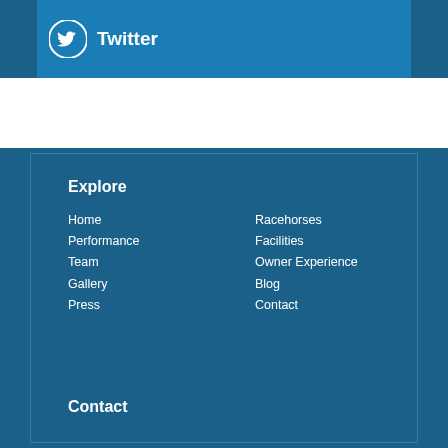[Figure (logo): Twitter bird icon with text 'Twitter' in white on a blue background banner]
Explore
Home
Performance
Team
Gallery
Press
Racehorses
Facilities
Owner Experience
Blog
Contact
Contact